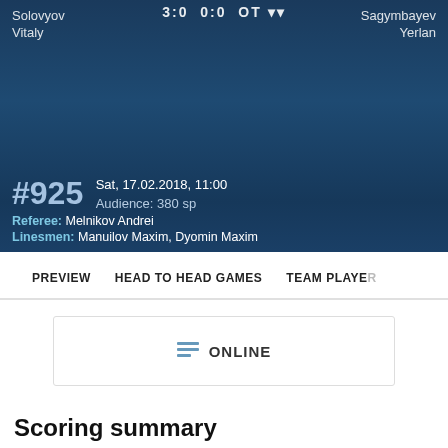[Figure (screenshot): Sports match hero banner with dark blue background showing player names Solovyov Vitaly on left and Sagymbayev Yerlan on right, with score 3:0 0:0 OT at top center]
Solovyov Vitaly
Sagymbayev Yerlan
#925
Sat, 17.02.2018, 11:00
Audience: 380 sp
Referee: Melnikov Andrei
Linesmen: Manuilov Maxim, Dyomin Maxim
PREVIEW     HEAD TO HEAD GAMES     TEAM PLAYER
ONLINE
Scoring summary